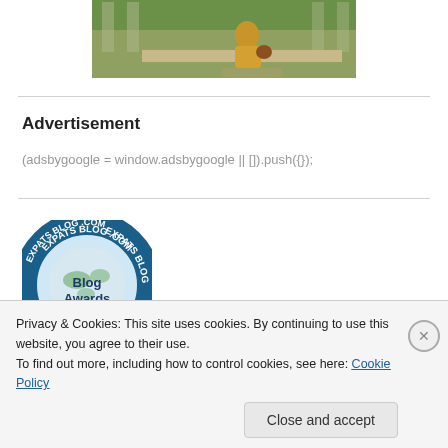[Figure (photo): Cropped photo of a person sitting outdoors on a stone surface, wearing a yellow/gold dress, with green foliage in the background.]
Advertisement
(adsbygoogle = window.adsbygoogle || []).push({});
[Figure (logo): Expats Blog .com Blog Awards circular badge/logo with blue border and globe imagery.]
Privacy & Cookies: This site uses cookies. By continuing to use this website, you agree to their use.
To find out more, including how to control cookies, see here: Cookie Policy
Close and accept